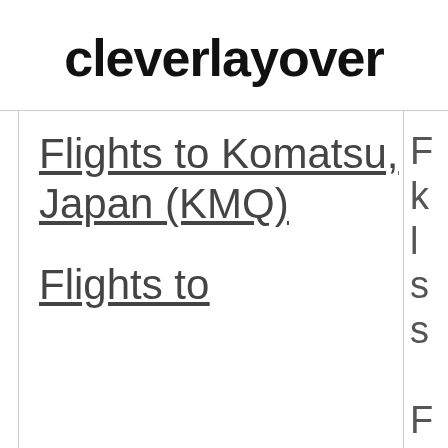cleverlayover
Flights to Komatsu, Japan (KMQ)
Flights to